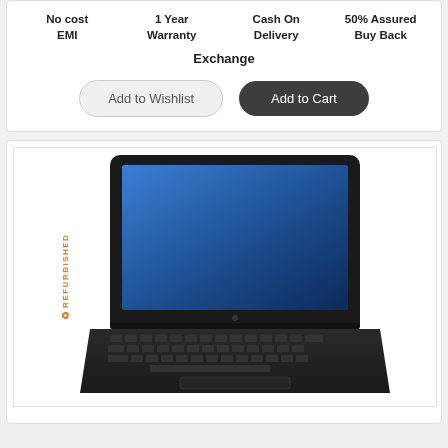No cost EMI
1 Year Warranty
Cash On Delivery
50% Assured Buy Back
Exchange
Add to Wishlist
Add to Cart
[Figure (photo): Refurbished Dell laptop shown open with blue screen display, black casing, keyboard visible, REFURBISHED label on left side]